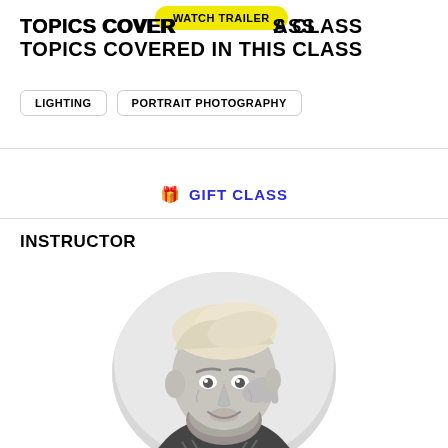TOPICS COVERED IN THIS CLASS
[Figure (other): Watch Trailer button overlay (yellow pill-shaped button)]
LIGHTING
PORTRAIT PHOTOGRAPHY
🎁 GIFT CLASS
INSTRUCTOR
[Figure (photo): Black and white circular portrait photo of a bearded man with blonde hair wearing a patterned shirt, smiling and touching his head]